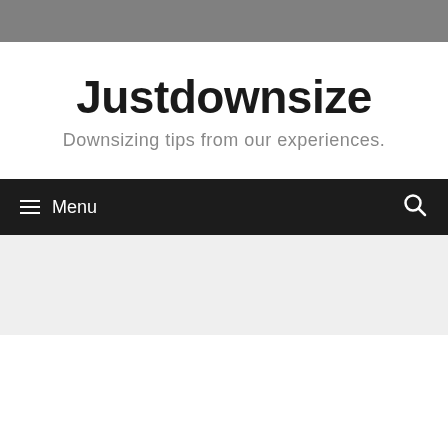Justdownsize
Downsizing tips from our experiences.
≡ Menu